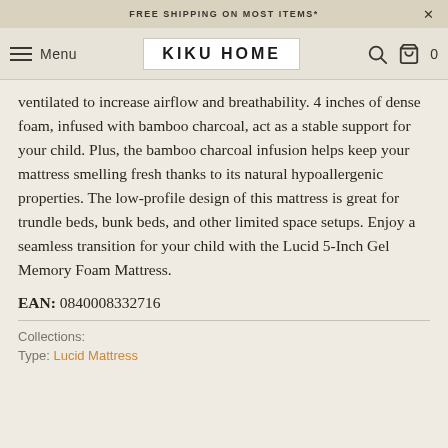FREE SHIPPING ON MOST ITEMS*
KIKU HOME
ventilated to increase airflow and breathability. 4 inches of dense foam, infused with bamboo charcoal, act as a stable support for your child. Plus, the bamboo charcoal infusion helps keep your mattress smelling fresh thanks to its natural hypoallergenic properties. The low-profile design of this mattress is great for trundle beds, bunk beds, and other limited space setups. Enjoy a seamless transition for your child with the Lucid 5-Inch Gel Memory Foam Mattress.
EAN: 0840008332716
Collections:
Type: Lucid Mattress